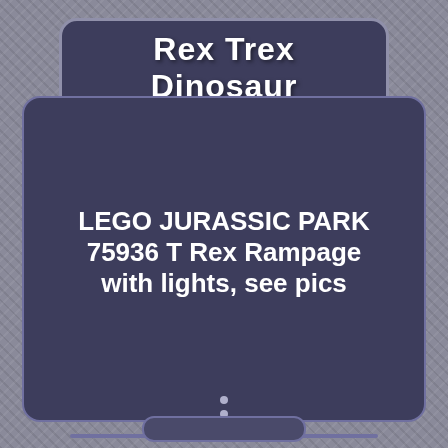Rex Trex Dinosaur
LEGO JURASSIC PARK 75936 T Rex Rampage with lights, see pics
[Figure (photo): Photo of LEGO Jurassic Park 75936 T Rex Rampage set showing multiple minifigures on a dark platform base in front of a Jurassic Park sign board, with green foliage in background, on a wooden table surface. eBay watermark visible at bottom.]